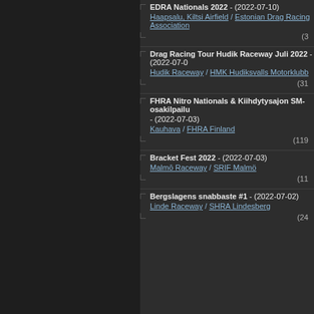EDRA Nationals 2022 - (2022-07-10)
Haapsalu, Kiltsi Airfield / Estonian Drag Racing Association
(3...
Drag Racing Tour Hudik Raceway Juli 2022 - (2022-07-0...)
Hudik Raceway / HMK Hudiksvalls Motorklubb
(31...
FHRA Nitro Nationals & Kiihdytysajon SM-osakilpailu ... - (2022-07-03)
Kauhava / FHRA Finland
(119...
Bracket Fest 2022 - (2022-07-03)
Malmō Raceway / SRIF Malmö
(11...
Bergslagens snabbaste #1 - (2022-07-02)
Linde Raceway / SHRA Lindesberg
(24...